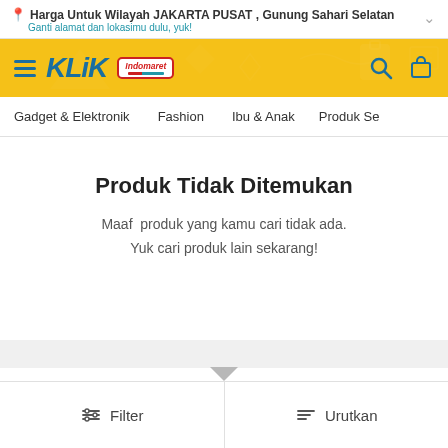Harga Untuk Wilayah JAKARTA PUSAT , Gunung Sahari Selatan
Ganti alamat dan lokasimu dulu, yuk!
[Figure (screenshot): KlikIndomaret navigation bar with hamburger menu, KLIK Indomaret logo, search icon, and cart icon on yellow background]
Gadget & Elektronik | Fashion | Ibu & Anak | Produk Se
Produk Tidak Ditemukan
Maaf  produk yang kamu cari tidak ada.
Yuk cari produk lain sekarang!
Filter | Urutkan